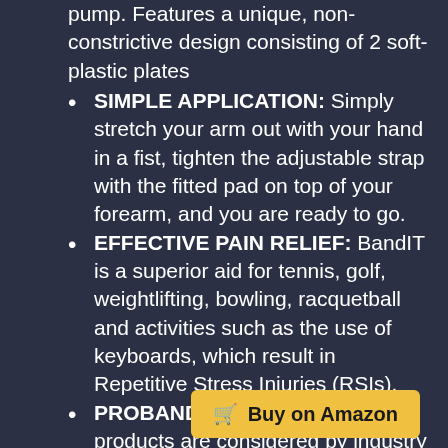pump. Features a unique, non-constrictive design consisting of 2 soft-plastic plates
SIMPLE APPLICATION: Simply stretch your arm out with your hand in a fist, tighten the adjustable strap with the fitted pad on top of your forearm, and you are ready to go.
EFFECTIVE PAIN RELIEF: BandIT is a superior aid for tennis, golf, weightlifting, bowling, racquetball and activities such as the use of keyboards, which result in Repetitive Stress Injuries (RSIs).
PROBAND: Our revolutionary products are considered by industry leaders as superior aides to previously existing therapeutic bands or guards. Designed to help you heal, alleviate pain, & avoid surgery commonly associated with repetitive stress injuries.
Buy on Amazon